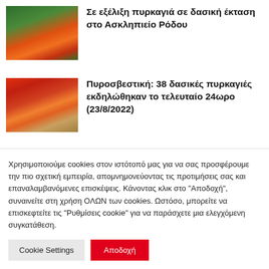[Figure (photo): Forest fire with orange flames and green trees]
Σε εξέλιξη πυρκαγιά σε δασική έκταση στο Ασκληπιείο Ρόδου
[Figure (photo): Fire truck with flames and orange fire in background]
Πυροσβεστική: 38 δασικές πυρκαγιές εκδηλώθηκαν το τελευταίο 24ωρο (23/8/2022)
[Figure (photo): Smoky hazy landscape with grey tones]
Χαλκιδική: Πυρκαγιά στο δάσος της Κασσάνδρας – Προκλήθηκε από πτώση κεραυνού (Φωτό)
Χρησιμοποιούμε cookies στον ιστότοπό μας για να σας προσφέρουμε την πιο σχετική εμπειρία, απομνημονεύοντας τις προτιμήσεις σας και επαναλαμβανόμενες επισκέψεις. Κάνοντας κλικ στο "Αποδοχή", συναινείτε στη χρήση ΟΛΩΝ των cookies. Ωστόσο, μπορείτε να επισκεφτείτε τις "Ρυθμίσεις cookie" για να παράσχετε μια ελεγχόμενη συγκατάθεση.
Cookie Settings | Αποδοχή